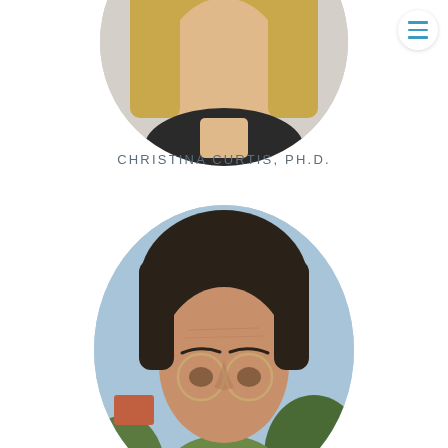[Figure (photo): Circular portrait photo of a woman with long blonde hair wearing a dark outfit, cropped circular frame, partially visible at top of page]
CHRISTINA CURTIS, PH.D.
[Figure (photo): Circular portrait photo of a man with dark hair wearing round glasses, outdoor background with trees and blue sky, cropped circular frame at bottom of page]